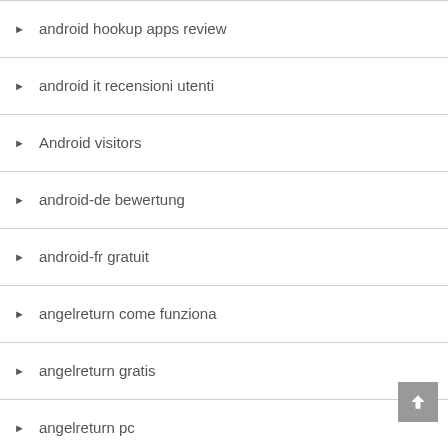android hookup apps review
android it recensioni utenti
Android visitors
android-de bewertung
android-fr gratuit
angelreturn come funziona
angelreturn gratis
angelreturn pc
angelreturn sitio de citas